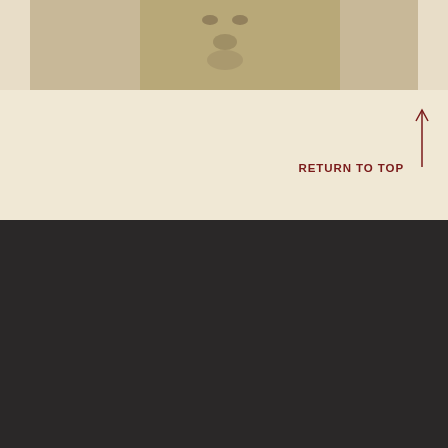[Figure (photo): Sepia-toned historical photograph showing a person's face, partially visible at the top of the page]
RETURN TO TOP
[Figure (logo): Facebook social media icon - white circle with lowercase f]
Exhibitions
Stories
Featured Exhibitions
People
Places